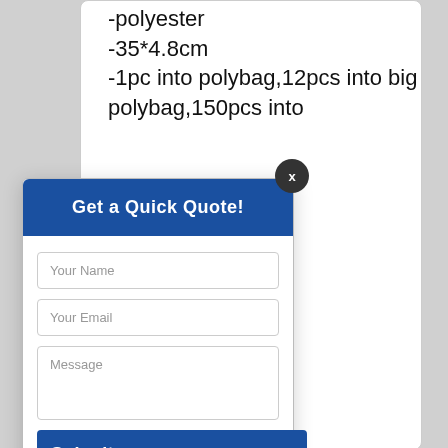-polyester
-35*4.8cm
-1pc into polybag,12pcs into big polybag,150pcs into
Get a Quick Quote!
Your Name
Your Email
Message
Submit